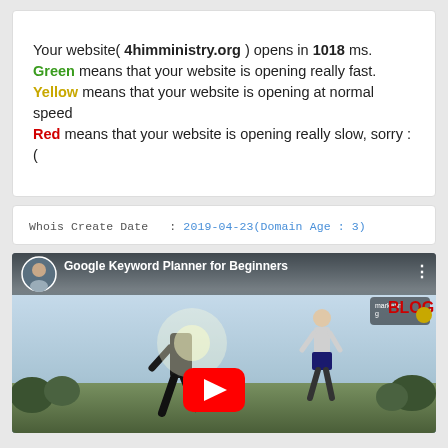Your website( 4himministry.org ) opens in 1018 ms. Green means that your website is opening really fast. Yellow means that your website is opening at normal speed Red means that your website is opening really slow, sorry :(
Whois Create Date  : 2019-04-23(Domain Age : 3)
[Figure (screenshot): YouTube video embed showing 'Google Keyword Planner for Beginners' with a running scene background, avatar thumbnail, and red play button]